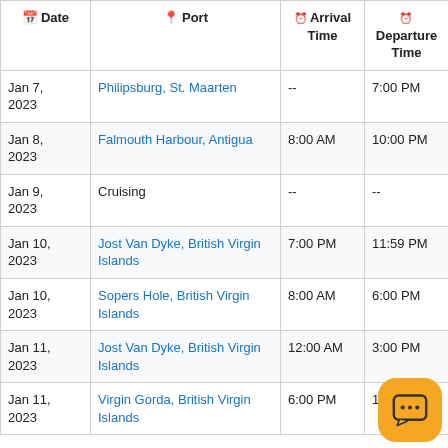| Date | Port | Arrival Time | Departure Time |
| --- | --- | --- | --- |
| Jan 7, 2023 | Philipsburg, St. Maarten | -- | 7:00 PM |
| Jan 8, 2023 | Falmouth Harbour, Antigua | 8:00 AM | 10:00 PM |
| Jan 9, 2023 | Cruising | -- | -- |
| Jan 10, 2023 | Jost Van Dyke, British Virgin Islands | 7:00 PM | 11:59 PM |
| Jan 10, 2023 | Sopers Hole, British Virgin Islands | 8:00 AM | 6:00 PM |
| Jan 11, 2023 | Jost Van Dyke, British Virgin Islands | 12:00 AM | 3:00 PM |
| Jan 11, 2023 | Virgin Gorda, British Virgin Islands | 6:00 PM | 11:59… |